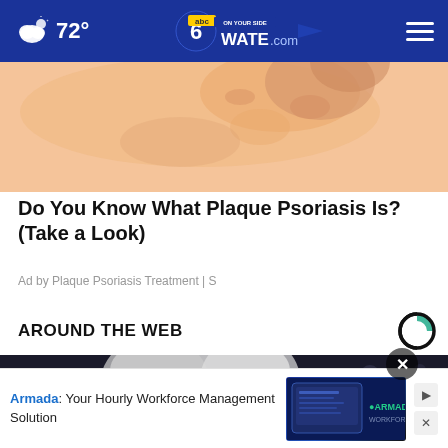72° WATE.com
[Figure (photo): Close-up photo of skin showing plaque psoriasis on what appears to be a hand or elbow area, warm peach/salmon tones]
Do You Know What Plaque Psoriasis Is? (Take a Look)
Ad by Plaque Psoriasis Treatment | S
AROUND THE WEB
[Figure (photo): Photo of a woman with white/grey hair wearing dark-framed glasses, appearing to be at an official hearing or event, dark background]
Armada: Your Hourly Workforce Management Solution